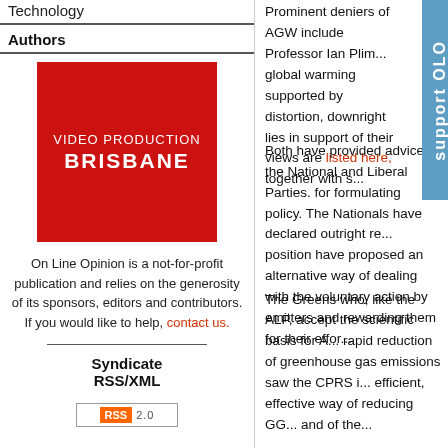Technology
Authors
[Figure (illustration): Red advertisement box for Video Production Brisbane]
On Line Opinion is a not-for-profit publication and relies on the generosity of its sponsors, editors and contributors. If you would like to help, contact us.
Syndicate RSS/XML
[Figure (logo): RSS 2.0 badge]
Prominent deniers of AGW include Professor Ian Plim... global warming supported by distortion, downright lies in support of their views are listed here, together with s...
Both have provided advice to the National and Liberal Parties. for formulating policy. The Nationals have declared outright re... position have proposed an alternative way of dealing with the voluntary action by emitters and rewarding them for their effor...
The Greens who, like the ALP, accept the scientific basis for A... rapid reduction of greenhouse gas emissions saw the CPRS i... efficient, effective way of reducing GG... and of the...